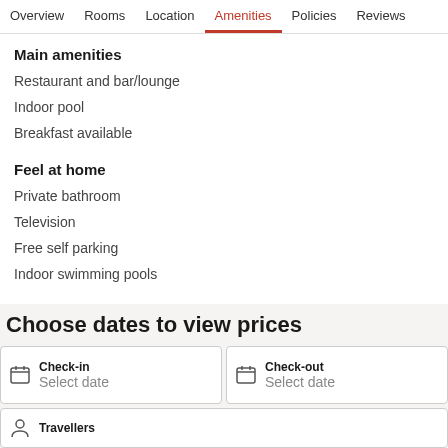Overview  Rooms  Location  Amenities  Policies  Reviews
Main amenities
Restaurant and bar/lounge
Indoor pool
Breakfast available
Feel at home
Private bathroom
Television
Free self parking
Indoor swimming pools
Choose dates to view prices
Check-in Select date
Check-out Select date
Travellers